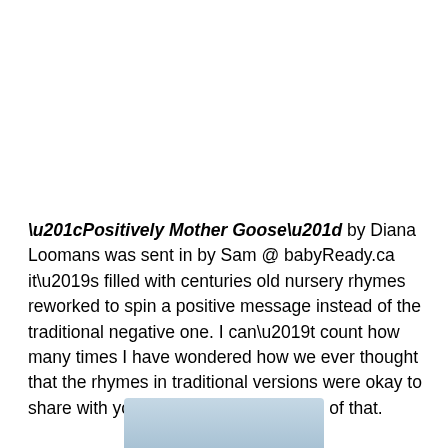“Positively Mother Goose” by Diana Loomans was sent in by Sam @ babyReady.ca it’s filled with centuries old nursery rhymes reworked to spin a positive message instead of the traditional negative one. I can’t count how many times I have wondered how we ever thought that the rhymes in traditional versions were okay to share with young kids! This takes care of that.
[Figure (photo): Partial image visible at the bottom of the page, appears to be a book cover or illustration, light blue/grey tones]